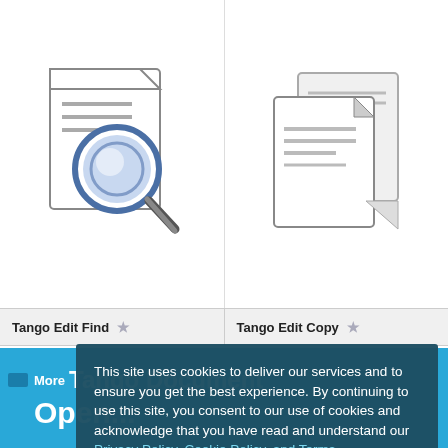[Figure (screenshot): Tango Edit Find icon: document with magnifying glass overlay]
[Figure (screenshot): Tango Edit Copy icon: two overlapping documents]
Tango Edit Find
Tango Edit Copy
This site uses cookies to deliver our services and to ensure you get the best experience. By continuing to use this site, you consent to our use of cookies and acknowledge that you have read and understand our Privacy Policy, Cookie Policy, and Terms
Accept
Tango Documnet Sav ...
More Tango Document Open...